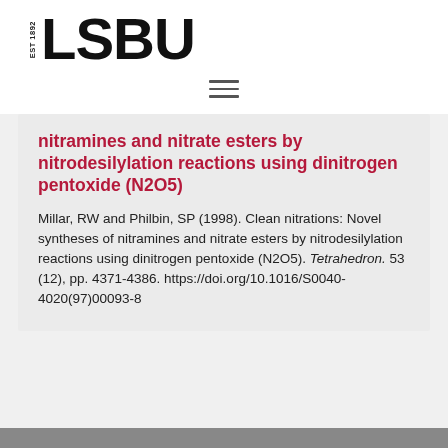EST 1892 LSBU
nitramines and nitrate esters by nitrodesilylation reactions using dinitrogen pentoxide (N2O5)
Millar, RW and Philbin, SP (1998). Clean nitrations: Novel syntheses of nitramines and nitrate esters by nitrodesilylation reactions using dinitrogen pentoxide (N2O5). Tetrahedron. 53 (12), pp. 4371-4386. https://doi.org/10.1016/S0040-4020(97)00093-8